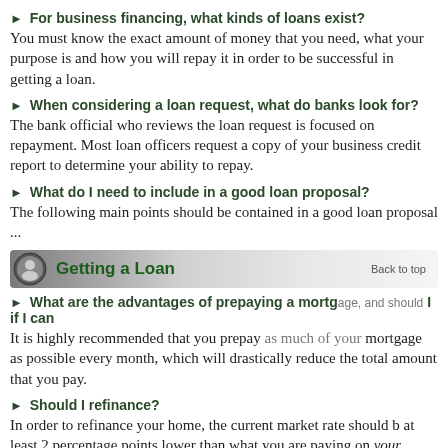► For business financing, what kinds of loans exist?
You must know the exact amount of money that you need, what your purpose is and how you will repay it in order to be successful in getting a loan.
► When considering a loan request, what do banks look for?
The bank official who reviews the loan request is focused on repayment. Most loan officers request a copy of your business credit report to determine your ability to repay.
► What do I need to include in a good loan proposal?
The following main points should be contained in a good loan proposal ...
Getting a Loan
► What are the advantages of prepaying a mortgage, and should I if I can
It is highly recommended that you prepay as much of your mortgage as possible every month, which will drastically reduce the total amount that you pay.
► Should I refinance?
In order to refinance your home, the current market rate should be at least 2 percentage points lower than what you are paying on your mortgage.